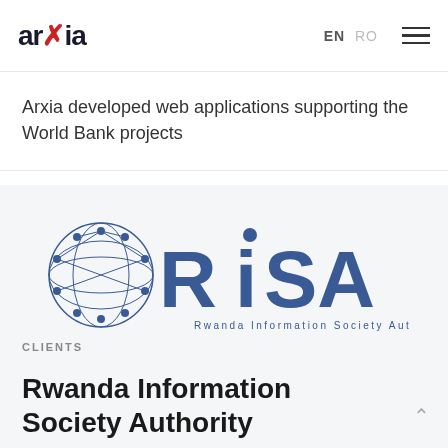arxia  EN  RO
Arxia developed web applications supporting the World Bank projects
[Figure (logo): RISA - Rwanda Information Society Authority logo with globe network graphic and blue lettering]
CLIENTS
Rwanda Information Society Authority